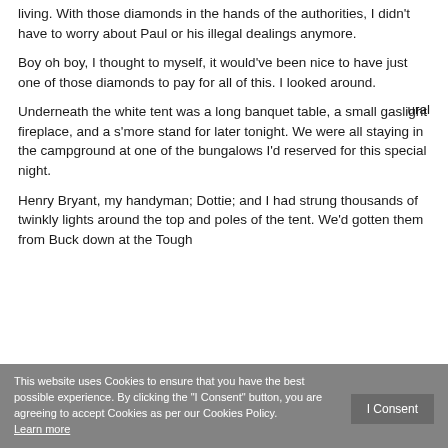living. With those diamonds in the hands of the authorities, I didn't have to worry about Paul or his illegal dealings anymore.
Boy oh boy, I thought to myself, it would've been nice to have just one of those diamonds to pay for all of this. I looked around.
Underneath the white tent was a long banquet table, a small gaslight fireplace, and a s'more stand for later tonight. We were all staying in the campground at one of the bungalows I'd reserved for this special night.
Henry Bryant, my handyman; Dottie; and I had strung thousands of twinkly lights around the top and poles of the tent. We'd gotten them from Buck down at the Tough ...rural
This website uses Cookies to ensure that you have the best possible experience. By clicking the "I Consent" button, you are agreeing to accept Cookies as per our Cookies Policy. Learn more